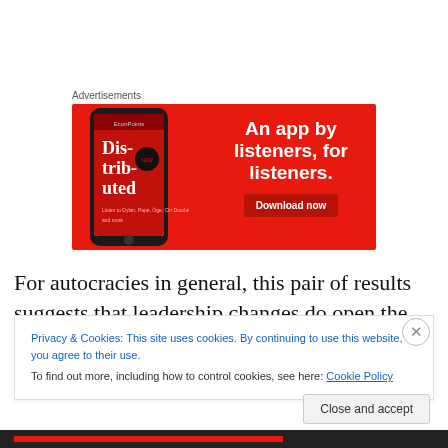Advertisements
[Figure (illustration): Advertisement banner with red background showing a smartphone displaying a podcast app with text 'Dis-tri-bu-ted', headline 'An app by listeners, for listeners.' and a 'Download now' button.]
For autocracies in general, this pair of results suggests that leadership changes do open the door to
Privacy & Cookies: This site uses cookies. By continuing to use this website, you agree to their use.
To find out more, including how to control cookies, see here: Cookie Policy
Close and accept